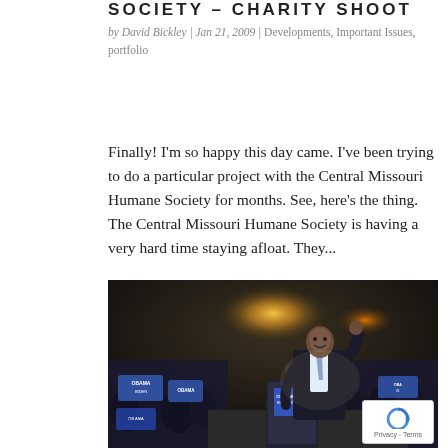SOCIETY – CHARITY SHOOT
by David Bickley | Jan 21, 2009 | Developments, Important Issues, portfolio
Finally! I'm so happy this day came. I've been trying to do a particular project with the Central Missouri Humane Society for months. See, here's the thing. The Central Missouri Humane Society is having a very hard time staying afloat. They...
[Figure (photo): Photo of Barack Obama at a campaign rally at night, waving to the crowd, with Obama/Biden signs visible in the background. A podium with a microphone is in front of him.]